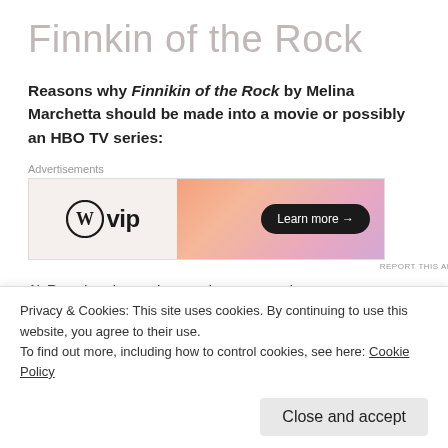Finnkin of the Rock
Reasons why Finnikin of the Rock by Melina Marchetta should be made into a movie or possibly an HBO TV series:
[Figure (other): WordPress VIP advertisement banner with gradient orange-pink background and 'Learn more →' button]
1) People who make movies want to bet on a sure thing
Privacy & Cookies: This site uses cookies. By continuing to use this website, you agree to their use. To find out more, including how to control cookies, see here: Cookie Policy
Close and accept